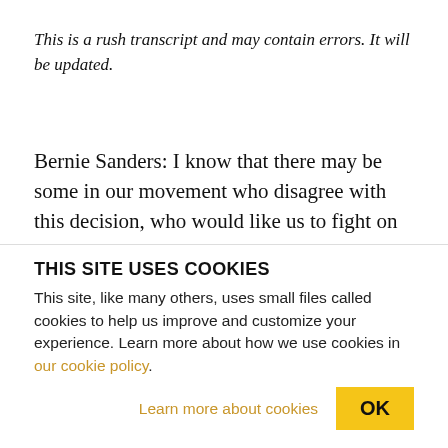This is a rush transcript and may contain errors. It will be updated.
Bernie Sanders: I know that there may be some in our movement who disagree with this decision, who would like us to fight on to the last valid test at the Democratic Convention. I understand that position, but as I see the crisis gripping the nation, exacerbated
THIS SITE USES COOKIES
This site, like many others, uses small files called cookies to help us improve and customize your experience. Learn more about how we use cookies in our cookie policy.
Learn more about cookies
OK